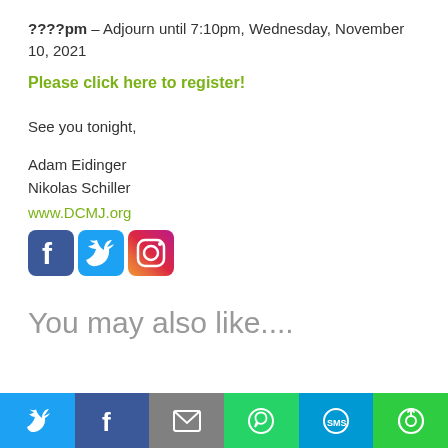????pm – Adjourn until 7:10pm, Wednesday, November 10, 2021
Please click here to register!
See you tonight,
Adam Eidinger
Nikolas Schiller
www.DCMJ.org
[Figure (illustration): Social media icons: Facebook, Twitter, Instagram]
You may also like....
[Figure (infographic): Footer share bar with icons for Twitter, Facebook, Email, WhatsApp, SMS, and a share button]